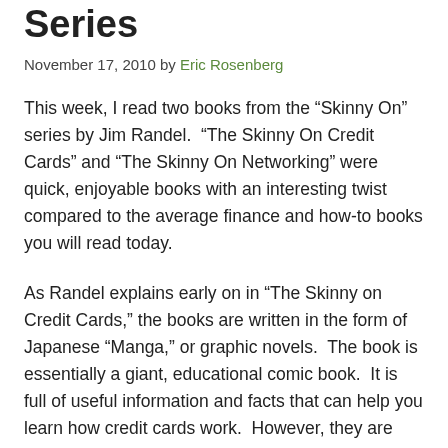Series
November 17, 2010 by Eric Rosenberg
This week, I read two books from the “Skinny On” series by Jim Randel.  “The Skinny On Credit Cards” and “The Skinny On Networking” were quick, enjoyable books with an interesting twist compared to the average finance and how-to books you will read today.
As Randel explains early on in “The Skinny on Credit Cards,” the books are written in the form of Japanese “Manga,” or graphic novels.  The book is essentially a giant, educational comic book.  It is full of useful information and facts that can help you learn how credit cards work.  However, they are